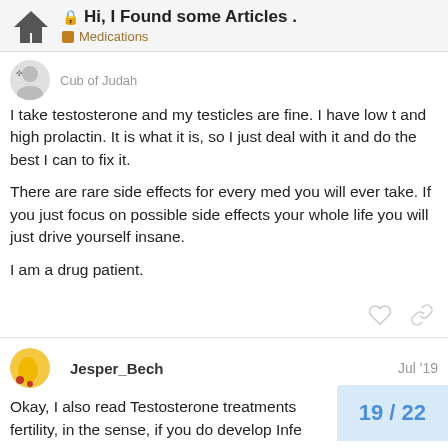Hi, I Found some Articles . — Medications
Cub of Judah
I take testosterone and my testicles are fine. I have low t and high prolactin. It is what it is, so I just deal with it and do the best I can to fix it.

There are rare side effects for every med you will ever take. If you just focus on possible side effects your whole life you will just drive yourself insane.

I am a drug patient.
Jesper_Bech Jul '19
Okay, I also read Testosterone treatments fertility, in the sense, if you do develop Infe